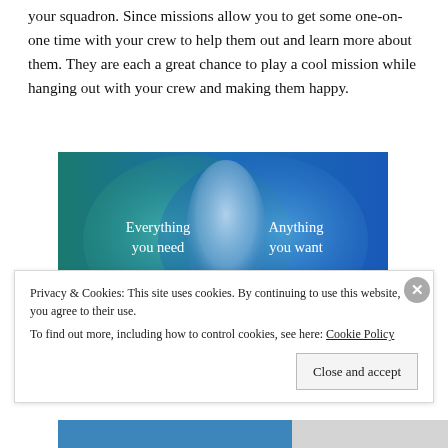your squadron. Since missions allow you to get some one-on-one time with your crew to help them out and learn more about them. They are each a great chance to play a cool mission while hanging out with your crew and making them happy.
[Figure (infographic): Venn diagram style graphic with teal/green left circle labeled 'Everything you need' and blue right circle labeled 'Anything you want', overlapping in the center. Background is blue-green gradient. A pink/magenta button is partially visible at the bottom.]
Privacy & Cookies: This site uses cookies. By continuing to use this website, you agree to their use. To find out more, including how to control cookies, see here: Cookie Policy